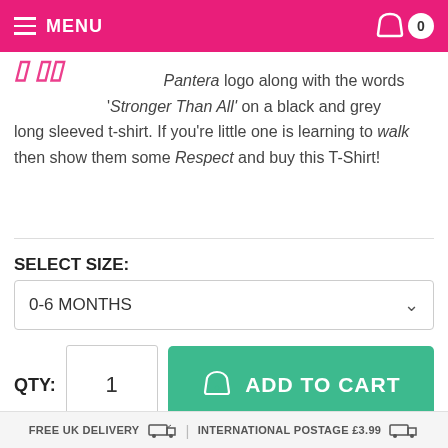MENU | 0
Pantera logo along with the words 'Stronger Than All' on a black and grey long sleeved t-shirt. If you're little one is learning to walk then show them some Respect and buy this T-Shirt!
SELECT SIZE:
0-6 MONTHS
QTY: 1
ADD TO CART
FREE UK DELIVERY | INTERNATIONAL POSTAGE £3.99